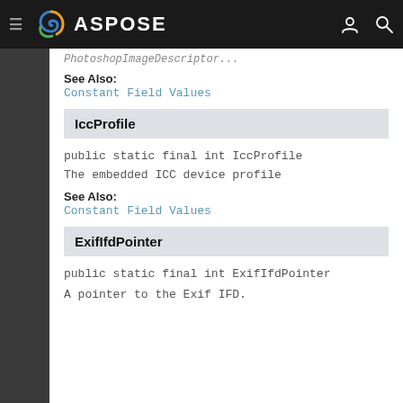ASPOSE
PhotoshopImageDescriptor (partial, cut off at top)
See Also:
Constant Field Values
IccProfile
public static final int IccProfile
The embedded ICC device profile
See Also:
Constant Field Values
ExifIfdPointer
public static final int ExifIfdPointer
A pointer to the Exif IFD.